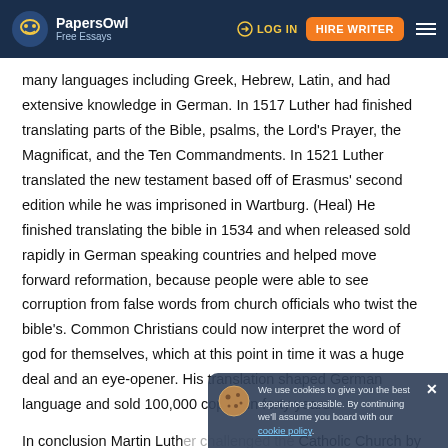PapersOwl Free Essays | LOG IN | HIRE WRITER
many languages including Greek, Hebrew, Latin, and had extensive knowledge in German. In 1517 Luther had finished translating parts of the Bible, psalms, the Lord's Prayer, the Magnificat, and the Ten Commandments. In 1521 Luther translated the new testament based off of Erasmus' second edition while he was imprisoned in Wartburg. (Heal) He finished translating the bible in 1534 and when released sold rapidly in German speaking countries and helped move forward reformation, because people were able to see corruption from false words from church officials who twist the bible's. Common Christians could now interpret the word of god for themselves, which at this point in time it was a huge deal and an eye-opener. His translation shaped German language and sold 100,000 copies in forty years.
In conclusion Martin Luther challenged the Catholic Church by busting corruption by posting his "95 theses"